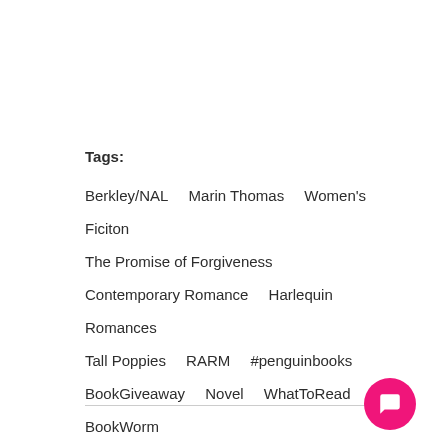Tags:
Berkley/NAL    Marin Thomas    Women's Ficiton
The Promise of Forgiveness
Contemporary Romance    Harlequin Romances
Tall Poppies    RARM    #penguinbooks
BookGiveaway    Novel    WhatToRead
BookWorm
[Figure (other): Social share icons: Facebook, Twitter, LinkedIn]